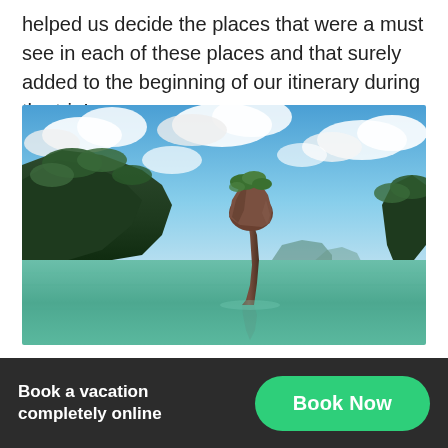helped us decide the places that were a must see in each of these places and that surely added to the beginning of our itinerary during the trip!
[Figure (photo): A scenic photo of James Bond Island (Khao Phing Kan) in Phang Nga Bay, Thailand, showing the iconic tall limestone rock pillar standing in calm turquoise-green water, with lush green karst mountains in the background and a partly cloudy blue sky.]
Thailand...  Book...
Book a vacation completely online
Book Now